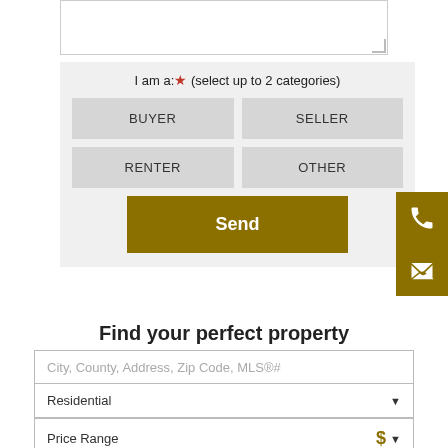I am a:* (select up to 2 categories)
BUYER
SELLER
RENTER
OTHER
Send
Find your perfect property
City, County, Address, Zip Code, MLS®#
Residential
Price Range